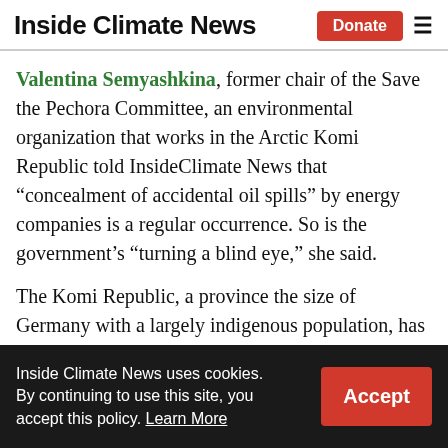Inside Climate News
Valentina Semyashkina, former chair of the Save the Pechora Committee, an environmental organization that works in the Arctic Komi Republic told InsideClimate News that “concealment of accidental oil spills” by energy companies is a regular occurrence. So is the government’s “turning a blind eye,” she said.
The Komi Republic, a province the size of Germany with a largely indigenous population, has been on the frontlines of Russia’s oil rush for years. Accidents have been prevalent, including a vast spill of as much as 2 million
Inside Climate News uses cookies. By continuing to use this site, you accept this policy. Learn More